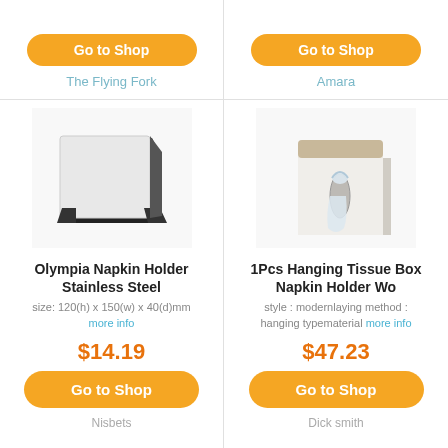The Flying Fork
Amara
[Figure (photo): Olympia Napkin Holder Stainless Steel - a metal napkin holder with white and black finish]
Olympia Napkin Holder Stainless Steel
size: 120(h) x 150(w) x 40(d)mm more info
$14.19
Go to Shop
Nisbets
[Figure (photo): 1Pcs Hanging Tissue Box Napkin Holder Wo - a white wall-mounted tissue box dispenser with wood top]
1Pcs Hanging Tissue Box Napkin Holder Wo
style : modernlaying method : hanging typematerial more info
$47.23
Go to Shop
Dick smith